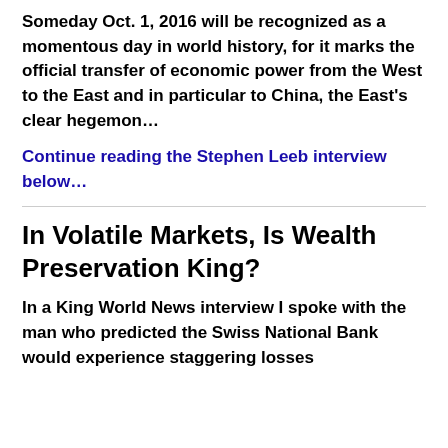Someday Oct. 1, 2016 will be recognized as a momentous day in world history, for it marks the official transfer of economic power from the West to the East and in particular to China, the East's clear hegemon…
Continue reading the Stephen Leeb interview below…
In Volatile Markets, Is Wealth Preservation King?
In a King World News interview I spoke with the man who predicted the Swiss National Bank would experience staggering losses